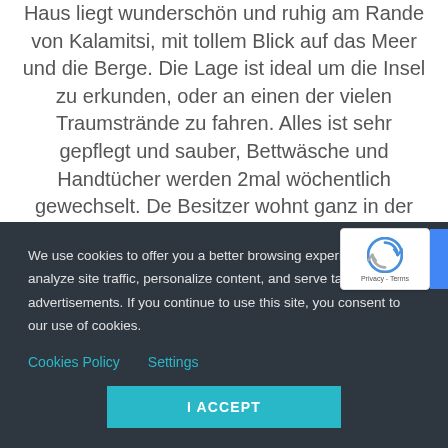Haus liegt wunderschön und ruhig am Rande von Kalamitsi, mit tollem Blick auf das Meer und die Berge. Die Lage ist ideal um die Insel zu erkunden, oder an einen der vielen Traumstrände zu fahren. Alles ist sehr gepflegt und sauber, Bettwäsche und Handtücher werden 2mal wöchentlich gewechselt. De Besitzer wohnt ganz in der Nähe, i immer erreichbar bei Fragen ode
We use cookies to offer you a better browsing experience, analyze site traffic, personalize content, and serve targeted advertisements. If you continue to use this site, you consent to our use of cookies.
Cookies Policy    Settings
I ACCEPT